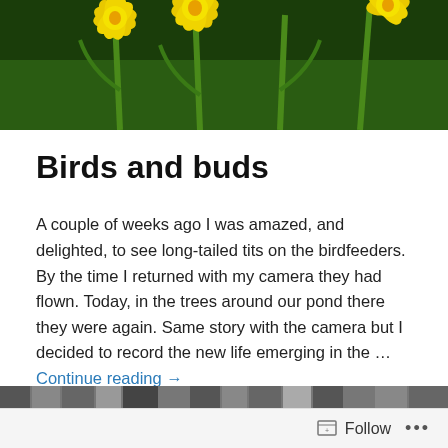[Figure (photo): Header photo of yellow daffodil flowers with green stems and leaves against a dark green background]
Birds and buds
A couple of weeks ago I was amazed, and delighted, to see long-tailed tits on the birdfeeders. By the time I returned with my camera they had flown. Today, in the trees around our pond there they were again. Same story with the camera but I decided to record the new life emerging in the … Continue reading →
February 3, 2022
2 Replies
[Figure (screenshot): Thumbnail strip of images at the bottom of the page]
Follow …